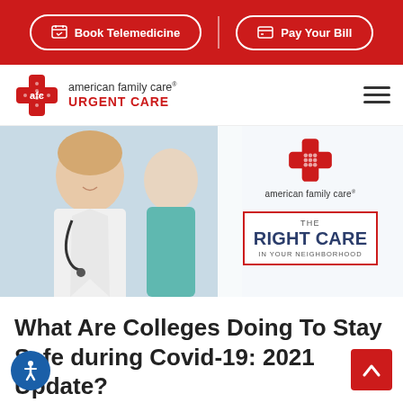Book Telemedicine | Pay Your Bill
[Figure (logo): AFC American Family Care Urgent Care logo with red cross and brand name]
[Figure (photo): Hero banner showing medical professionals (doctors/nurses in white coats and scrubs) with AFC branding overlay: 'THE RIGHT CARE IN YOUR NEIGHBORHOOD']
What Are Colleges Doing To Stay Safe during Covid-19: 2021 Update?